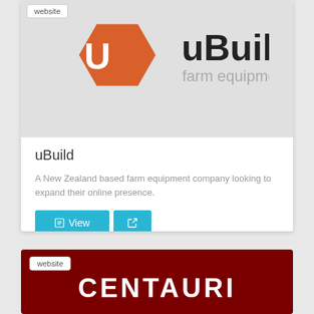[Figure (logo): uBuild farm equipment logo: orange hexagon with white U shape, text 'uBuild' in bold black and 'farm equipment' in grey]
uBuild
A New Zealand based farm equipment company looking to expand their online presence.
[Figure (logo): CENTAURI logo on dark red/maroon background, white bold text 'CENTAURI' with 'website' label tag]